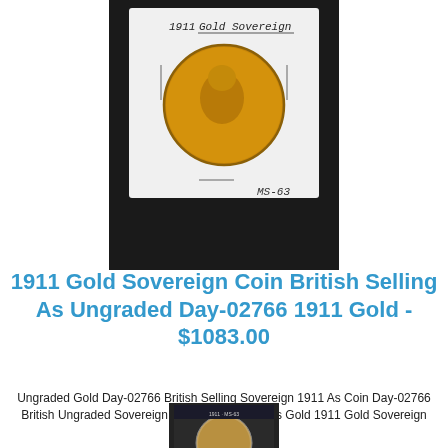[Figure (photo): Photograph of a 1911 Gold Sovereign coin mounted on a white card holder labeled '1911 Gold Sovereign' and 'MS-63', set against a dark background.]
1911 Gold Sovereign Coin British Selling As Ungraded Day-02766 1911 Gold - $1083.00
Ungraded Gold Day-02766 British Selling Sovereign 1911 As Coin Day-02766 British Ungraded Sovereign Coin Selling 1911 As Gold 1911 Gold Sovereign
[Figure (photo): Partial photograph of another coin in a graded slab holder at the bottom of the page, partially cut off.]